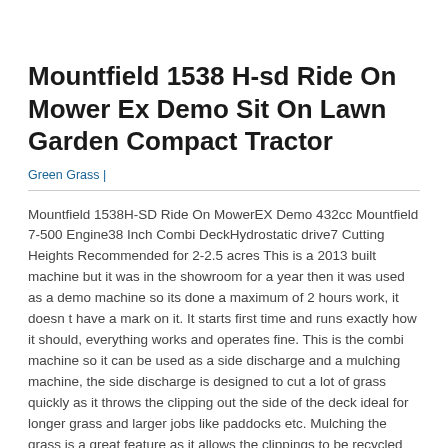Mountfield 1538 H-sd Ride On Mower Ex Demo Sit On Lawn Garden Compact Tractor
Green Grass |
Mountfield 1538H-SD Ride On MowerEX Demo 432cc Mountfield 7-500 Engine38 Inch Combi DeckHydrostatic drive7 Cutting Heights Recommended for 2-2.5 acres This is a 2013 built machine but it was in the showroom for a year then it was used as a demo machine so its done a maximum of 2 hours work, it doesn t have a mark on it. It starts first time and runs exactly how it should, everything works and operates fine. This is the combi machine so it can be used as a side discharge and a mulching machine, the side discharge is designed to cut a lot of grass quickly as it throws the clipping out the side of the deck ideal for longer grass and larger jobs like paddocks etc. Mulching the grass is a great feature as it allows the clippings to be recycled improving the soil as they decompose forming a natural fertilizer. You will notice a vast improvement in your lawns condition. EngineStarting MethodElectric KeyEngine BrandMountfieldEngine TypeSeries 7750 OHVEngine Capacity452ccNet Power Output9.4kW @ 3000rpmFuel Tank Capacity6.0